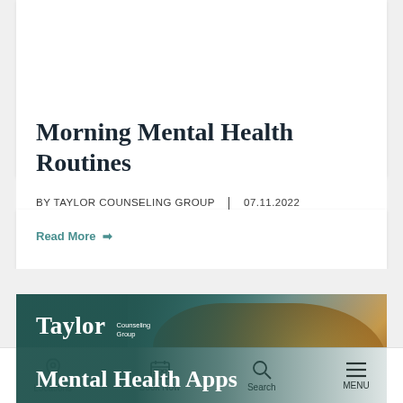Morning Mental Health Routines
BY TAYLOR COUNSELING GROUP | 07.11.2022
Read More →
[Figure (screenshot): Taylor Counseling Group banner card with logo and partial article title 'Mental Health Apps', featuring a woman in an orange turtleneck smiling at her phone against a teal background]
Locations | Book Now | Search | MENU